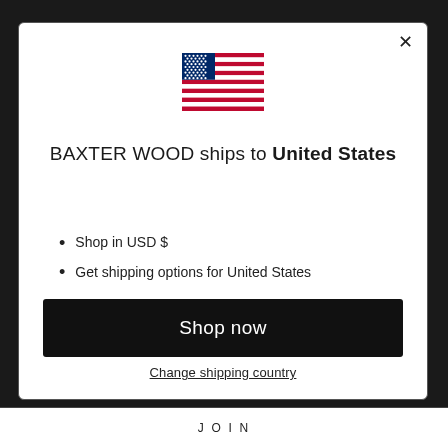[Figure (illustration): United States flag emoji/icon]
BAXTER WOOD ships to United States
Shop in USD $
Get shipping options for United States
Shop now
Change shipping country
JOIN